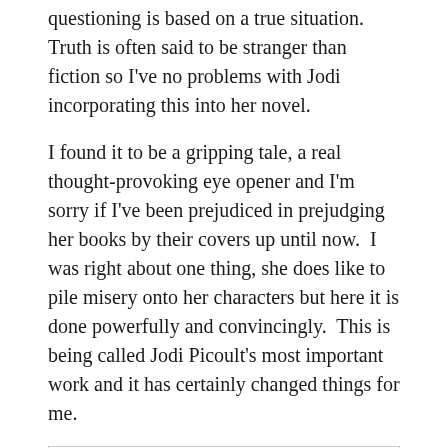questioning is based on a true situation. Truth is often said to be stranger than fiction so I've no problems with Jodi incorporating this into her novel.
I found it to be a gripping tale, a real thought-provoking eye opener and I'm sorry if I've been prejudiced in prejudging her books by their covers up until now. I was right about one thing, she does like to pile misery onto her characters but here it is done powerfully and convincingly. This is being called Jodi Picoult's most important work and it has certainly changed things for me.
[Figure (other): Five yellow star rating icons arranged in a row inside a bordered box]